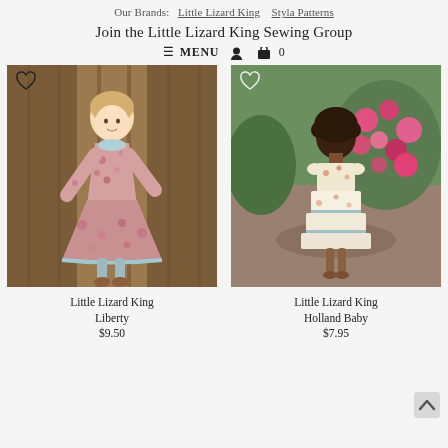Our Brands:  Little Lizard King  Styla Patterns
Join the Little Lizard King Sewing Group
≡ MENU  👤  🛒 0
[Figure (photo): Young blonde girl in a floral long-sleeve dress twirling, wearing blue knee socks and brown shoes, standing in front of wooden doors. Heart icon overlay top-left.]
[Figure (photo): Young dark-haired toddler girl in a tiered floral dress seen from behind, walking near flowering bushes. Heart icon overlay top-left.]
Little Lizard King Liberty
$9.50
Little Lizard King Holland Baby
$7.95